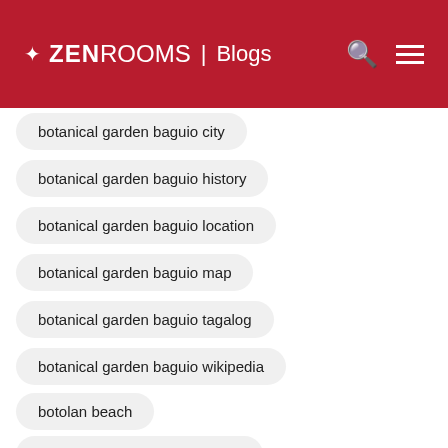ZEN ROOMS | Blogs
botanical garden baguio city
botanical garden baguio history
botanical garden baguio location
botanical garden baguio map
botanical garden baguio tagalog
botanical garden baguio wikipedia
botolan beach
botolan zambales tourist spots
bounty beach malapascua